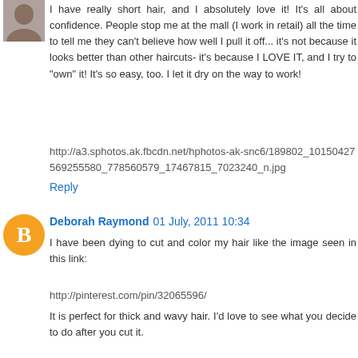[Figure (photo): Small square avatar photo of a person with short dark hair, top-left corner]
I have really short hair, and I absolutely love it! It's all about confidence. People stop me at the mall (I work in retail) all the time to tell me they can't believe how well I pull it off... it's not because it looks better than other haircuts- it's because I LOVE IT, and I try to "own" it! It's so easy, too. I let it dry on the way to work!
http://a3.sphotos.ak.fbcdn.net/hphotos-ak-snc6/189802_10150427569255580_778560579_17467815_7023240_n.jpg
Reply
[Figure (logo): Blogger orange circle avatar icon with white 'B' letter]
Deborah Raymond 01 July, 2011 10:34
I have been dying to cut and color my hair like the image seen in this link:
http://pinterest.com/pin/32065596/
It is perfect for thick and wavy hair. I'd love to see what you decide to do after you cut it.